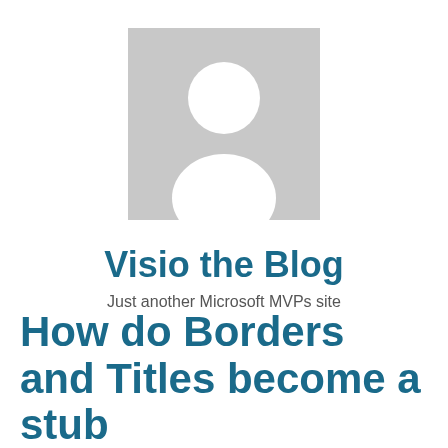[Figure (illustration): Generic grey placeholder avatar/person silhouette icon on grey square background]
Visio the Blog
Just another Microsoft MVPs site
How do Borders and Titles become a stub